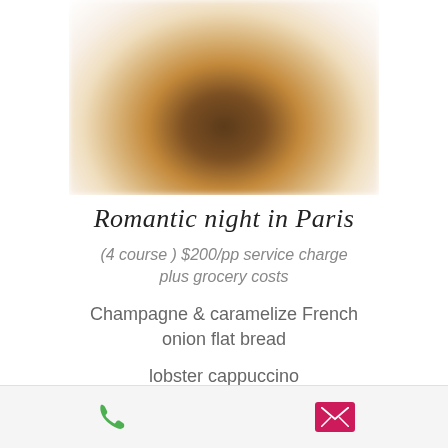[Figure (photo): Blurred food photo showing a dish on a white plate, likely a meat dish with sauce]
Romantic night in Paris
(4 course ) $200/pp service charge plus grocery costs
Champagne & caramelize French onion flat bread
lobster cappuccino
Filet mignon truffle brie sauce, slow
[Figure (infographic): Bottom action bar with phone icon (green) and email envelope icon (magenta/pink)]